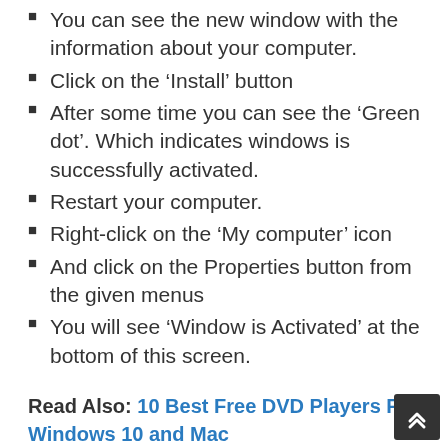You can see the new window with the information about your computer.
Click on the ‘Install’ button
After some time you can see the ‘Green dot’. Which indicates windows is successfully activated.
Restart your computer.
Right-click on the ‘My computer’ icon
And click on the Properties button from the given menus
You will see ‘Window is Activated’ at the bottom of this screen.
Read Also: 10 Best Free DVD Players For Windows 10 and Mac
PROS AND CONS OF WINDOW 7 ACTIVATOR